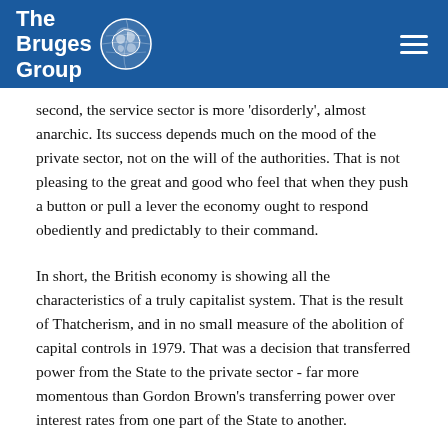[Figure (logo): The Bruges Group logo with globe icon on blue header bar, with hamburger menu icon on the right]
second, the service sector is more 'disorderly', almost anarchic. Its success depends much on the mood of the private sector, not on the will of the authorities. That is not pleasing to the great and good who feel that when they push a button or pull a lever the economy ought to respond obediently and predictably to their command.
In short, the British economy is showing all the characteristics of a truly capitalist system. That is the result of Thatcherism, and in no small measure of the abolition of capital controls in 1979. That was a decision that transferred power from the State to the private sector - far more momentous than Gordon Brown's transferring power over interest rates from one part of the State to another.
Once capital could flow freely, the expected rate of return